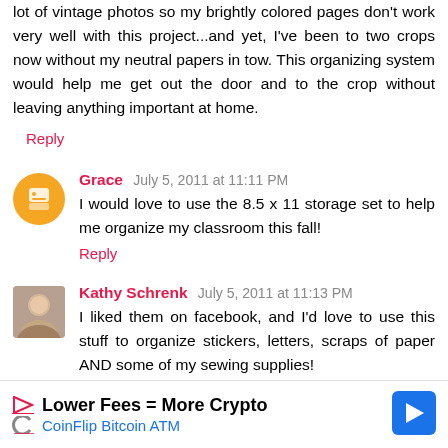lot of vintage photos so my brightly colored pages don't work very well with this project...and yet, I've been to two crops now without my neutral papers in tow. This organizing system would help me get out the door and to the crop without leaving anything important at home.
Reply
Grace  July 5, 2011 at 11:11 PM
I would love to use the 8.5 x 11 storage set to help me organize my classroom this fall!
Reply
Kathy Schrenk  July 5, 2011 at 11:13 PM
I liked them on facebook, and I'd love to use this stuff to organize stickers, letters, scraps of paper AND some of my sewing supplies!
[Figure (infographic): Advertisement banner for CoinFlip Bitcoin ATM with text 'Lower Fees = More Crypto' and 'CoinFlip Bitcoin ATM']